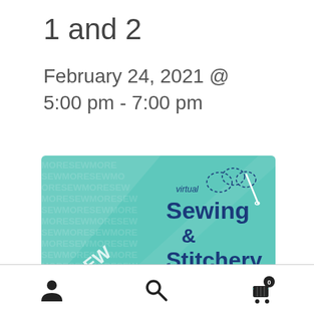1 and 2
February 24, 2021 @ 5:00 pm - 7:00 pm
[Figure (logo): Virtual Sewing & Stitchery Expo logo on teal background with diagonal stripe and repeated text pattern]
Navigation bar with user icon, search icon, and cart icon with badge 0